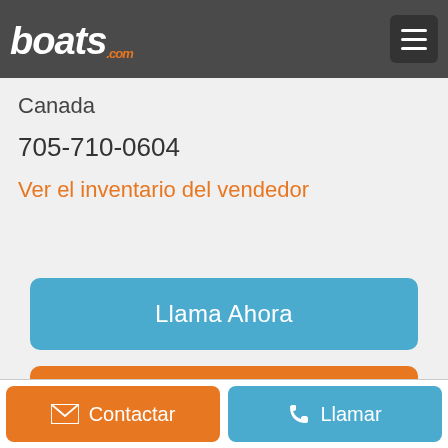boats.com
Canada
705-710-0604
Ver el inventario del vendedor
Llama Ahora
Mandar e-mail
Contactar  Llamar